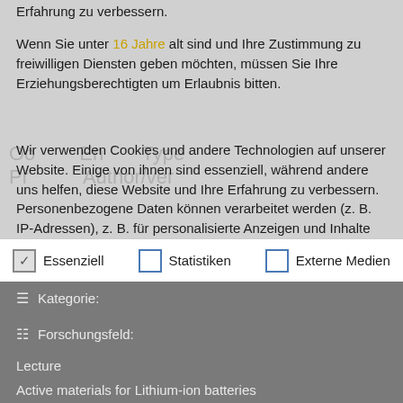Erfahrung zu verbessern.
Wenn Sie unter 16 Jahre alt sind und Ihre Zustimmung zu freiwilligen Diensten geben möchten, müssen Sie Ihre Erziehungsberechtigten um Erlaubnis bitten.
Wir verwenden Cookies und andere Technologien auf unserer Website. Einige von ihnen sind essenziell, während andere uns helfen, diese Website und Ihre Erfahrung zu verbessern. Personenbezogene Daten können verarbeitet werden (z. B. IP-Adressen), z. B. für personalisierte Anzeigen und Inhalte oder
Essenziell
Statistiken
Externe Medien
Kategorie:
Forschungsfeld:
Lecture
Active materials for Lithium-ion batteries